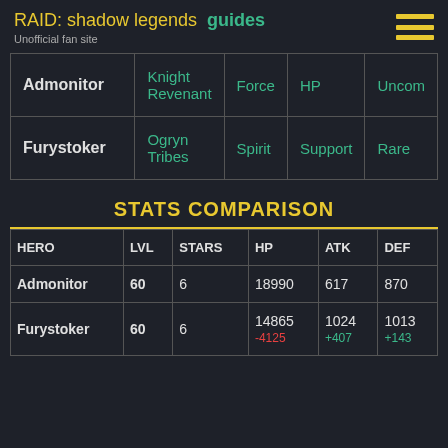RAID: shadow legends  guides
Unofficial fan site
|  |  |  |  |  |
| --- | --- | --- | --- | --- |
| Admonitor | Knight Revenant | Force | HP | Uncom |
| Furystoker | Ogryn Tribes | Spirit | Support | Rare |
STATS COMPARISON
| HERO | LVL | STARS | HP | ATK | DEF |
| --- | --- | --- | --- | --- | --- |
| Admonitor | 60 | 6 | 18990 | 617 | 870 |
| Furystoker | 60 | 6 | 14865 | 1024 | 1013 |